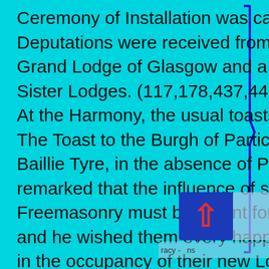Ceremony of Installation was carried out. Deputations were received from the Provincial Grand Lodge of Glasgow and a number of the Sister Lodges. (117,178,437,441,510,553,581,609) At the Harmony, the usual toasts were proposed. The Toast to the Burgh of Partick was replied to by Baillie Tyre, in the absence of Provost Caird. He remarked that the influence of such a society i.e. Freemasonry must be potent for good in the district and he wished them every happiness and success in the occupancy of their new Lodge Room. The Rev. David Ness M.A., Honorary Chaplain, in proposing the Toast to the Visiting Brethren said "he understood Lodge St. John was given much to hospitality. Although he